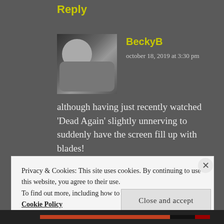Reply
[Figure (photo): Black and white avatar photo of commenter BeckyB showing two people outdoors]
BeckyB
october 18, 2019 at 3:30 pm
although having just recently watched 'Dead Again' slightly unnerving to suddenly have the screen fill up with blades!
★ Liked by
Privacy & Cookies: This site uses cookies. By continuing to use this website, you agree to their use.
To find out more, including how to control cookies, see here: Cookie Policy
Close and accept